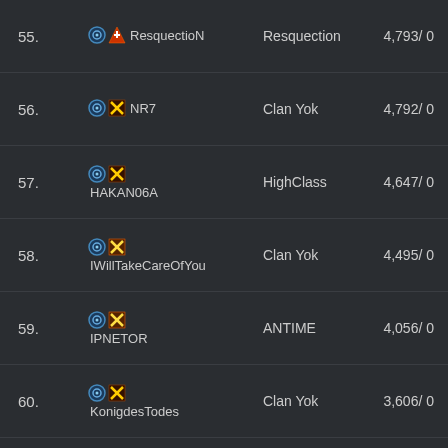55. ResquectioN  Resquection  4,793/ 0
56. NR7  Clan Yok  4,792/ 0
57. HAKAN06A  HighClass  4,647/ 0
58. IWillTakeCareOfYou  Clan Yok  4,495/ 0
59. IPNETOR  ANTIME  4,056/ 0
60. KonigdesTodes  Clan Yok  3,606/ 0
61. TCx  Clan Yok  3,508/ 0